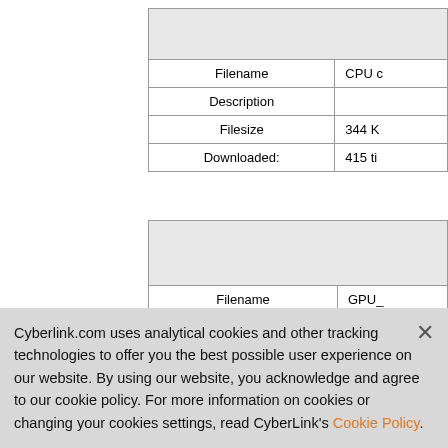| Filename | CPU ... |
| --- | --- |
| Description |  |
| Filesize | 344 K... |
| Downloaded: | 415 ti... |
| Filename | GPU_... |
| --- | --- |
| Description |  |
| Filesize | 341 K... |
| Downloaded: | 399 ti... |
Cyberlink.com uses analytical cookies and other tracking technologies to offer you the best possible user experience on our website. By using our website, you acknowledge and agree to our cookie policy. For more information on cookies or changing your cookies settings, read CyberLink's Cookie Policy.